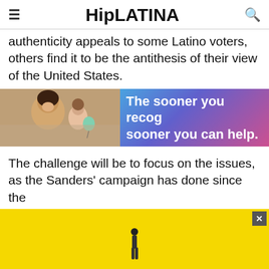HipLATINA
authenticity appeals to some Latino voters, others find it to be the antithesis of their view of the United States.
[Figure (photo): Advertisement banner: left side shows a woman smiling with a child holding a balloon; right side has a blue-to-pink gradient background with white text reading 'The sooner you recog sooner you can help.']
The challenge will be to focus on the issues, as the Sanders' campaign has done since the
[Figure (other): Yellow advertisement overlay with a small figure of a person standing, and a close/X button in the top right corner.]